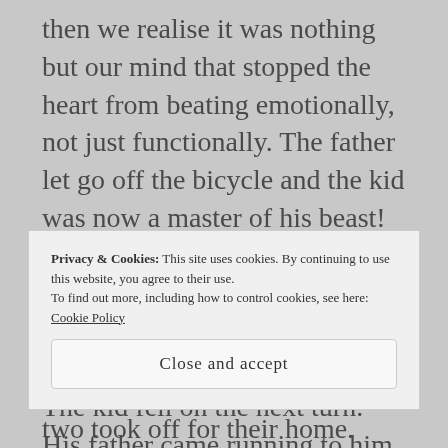then we realise it was nothing but our mind that stopped the heart from beating emotionally, not just functionally. The father let go off the bicycle and the kid was now a master of his beast! “Dad, I can ride a bicycle”. His face had grown like the sun which had nothing to fear for, no one to beat, nothing to hide. The kid fell on the next turn. His father came running to him. “See, now you know what it feels like to ride in the wind. You have to keep your feet down my Son.”
Privacy & Cookies: This site uses cookies. By continuing to use this website, you agree to their use.
To find out more, including how to control cookies, see here:
Cookie Policy
Close and accept
two took off for their home. “We will try harder